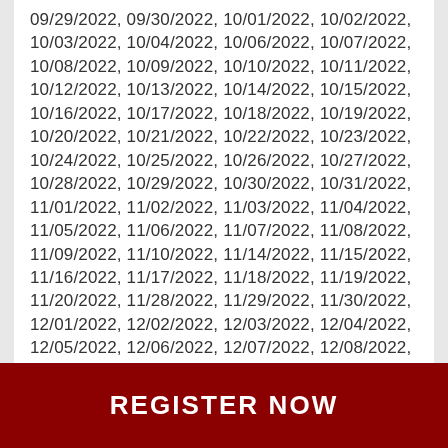09/29/2022, 09/30/2022, 10/01/2022, 10/02/2022, 10/03/2022, 10/04/2022, 10/06/2022, 10/07/2022, 10/08/2022, 10/09/2022, 10/10/2022, 10/11/2022, 10/12/2022, 10/13/2022, 10/14/2022, 10/15/2022, 10/16/2022, 10/17/2022, 10/18/2022, 10/19/2022, 10/20/2022, 10/21/2022, 10/22/2022, 10/23/2022, 10/24/2022, 10/25/2022, 10/26/2022, 10/27/2022, 10/28/2022, 10/29/2022, 10/30/2022, 10/31/2022, 11/01/2022, 11/02/2022, 11/03/2022, 11/04/2022, 11/05/2022, 11/06/2022, 11/07/2022, 11/08/2022, 11/09/2022, 11/10/2022, 11/14/2022, 11/15/2022, 11/16/2022, 11/17/2022, 11/18/2022, 11/19/2022, 11/20/2022, 11/28/2022, 11/29/2022, 11/30/2022, 12/01/2022, 12/02/2022, 12/03/2022, 12/04/2022, 12/05/2022, 12/06/2022, 12/07/2022, 12/08/2022, 12/09/2022, 12/10/2022, 12/11/2022, 12/12/2022, 12/13/2022, 12/14/2022, 12/15/2022, 12/16/2022, 12/17/2022, 12/18/2022, 12/19/2022, 12/20/2022, 12/21/2022, 12/22/2022, 12/23/2022, 12/24/2022,
REGISTER NOW